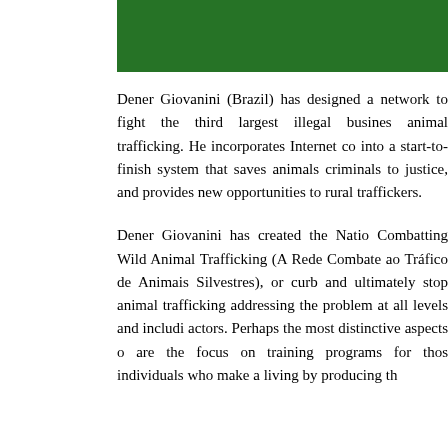[Figure (other): Green banner header at top of page]
Dener Giovanini (Brazil) has designed a network to fight the third largest illegal business, animal trafficking. He incorporates Internet co into a start-to-finish system that saves animals, criminals to justice, and provides new opportunities to rural traffickers.
Dener Giovanini has created the National Network Combatting Wild Animal Trafficking (A Rede Nacional de Combate ao Tráfico de Animais Silvestres), or... to curb and ultimately stop animal trafficking by addressing the problem at all levels and including all actors. Perhaps the most distinctive aspects of... are the focus on training programs for those individuals who make a living by producing th...